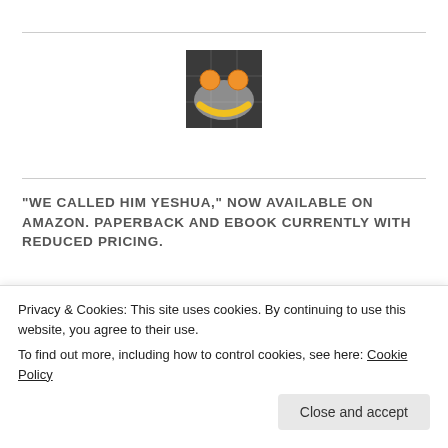[Figure (photo): A smiley face made from fruit on a plate: two oranges as eyes and a banana as the smile, on a dark tiled background.]
“WE CALLED HIM YESHUA,” NOW AVAILABLE ON AMAZON. PAPERBACK AND EBOOK CURRENTLY WITH REDUCED PRICING.
[Figure (photo): Book cover of 'We Called Him Yeshua' showing a beige/tan spine with 'We' visible in white lettering, partially cropped.]
“We Called Him Yeshua”
Get to know Jesus Christ from a new
Privacy & Cookies: This site uses cookies. By continuing to use this website, you agree to their use.
To find out more, including how to control cookies, see here: Cookie Policy
Close and accept